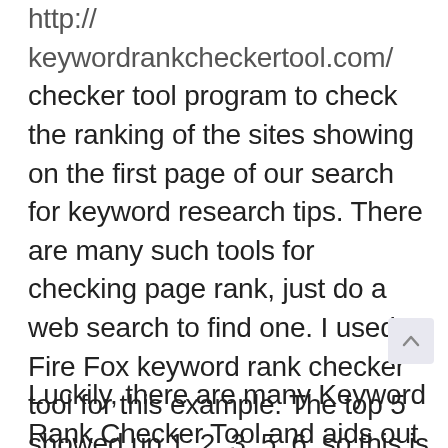http:// keywordrankcheckertool.com/ checker tool program to check the ranking of the sites showing on the first page of our search for keyword research tips. There are many such tools for checking page rank, just do a web search to find one. I used Fire Fox keyword rank checker tool for this example. The top 5 showed up 1, 2, 3, 5, 6, so this is going to take a lot of good copy writing with articles, video that is keyword intensive, and creating back links with media sharing companies.
Luckily, there are many Keyword Rank Checker Tool and aids out there that can